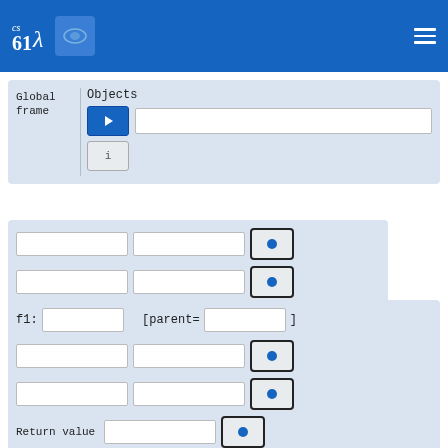cs61λ [navigation header with logo and hamburger menu]
[Figure (screenshot): Global frame panel with Objects label, play button, text input, and i button]
[Figure (screenshot): Variable rows with empty input boxes and blue dot indicator buttons]
[Figure (screenshot): f1 frame panel with parent= field, variable rows, and Return value row]
[Figure (screenshot): f2 frame panel with parent= field, partially visible at bottom]